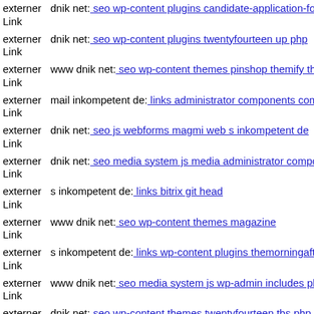externer Link dnik net: seo wp-content plugins candidate-application-form
externer Link dnik net: seo wp-content plugins twentyfourteen up php
externer Link www dnik net: seo wp-content themes pinshop themify the
externer Link mail inkompetent de: links administrator components com
externer Link dnik net: seo js webforms magmi web s inkompetent de
externer Link dnik net: seo media system js media administrator compone
externer Link s inkompetent de: links bitrix git head
externer Link www dnik net: seo wp-content themes magazine
externer Link s inkompetent de: links wp-content plugins themorningafter
externer Link www dnik net: seo media system js wp-admin includes plug
externer Link dnik net: seo wp-content themes twentyfourteen tbs php
externer